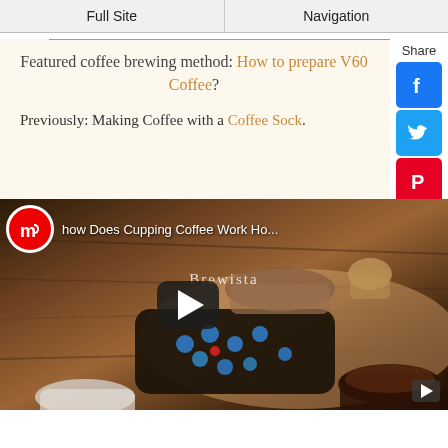Full Site | Navigation
Featured coffee brewing method: How to prepare V60 Coffee?
Previously: Making Coffee with a Coffee Sock.
[Figure (screenshot): Video thumbnail showing cupping coffee process with title 'how Does Cupping Coffee Work Ho...' and a play button overlay. Brewista brewer visible.]